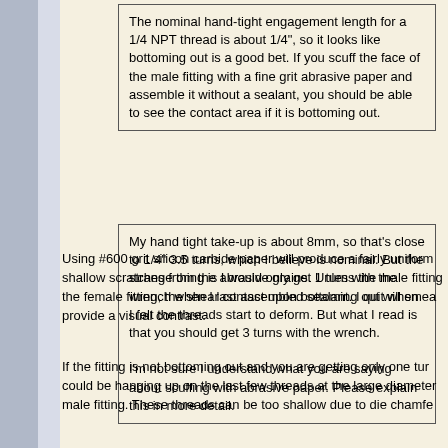The nominal hand-tight engagement length for a 1/4 NPT thread is about 1/4", so it looks like bottoming out is a good bet. If you scuff the face of the male fitting with a fine grit abrasive paper and assemble it without a sealant, you should be able to see the contact area if it is bottoming out.
My hand tight take-up is about 8mm, so that's close to 1/4" 3.5 turns, which I believe is nominal. But the strange thing is I would only get 1 turn with the wrench when I last assembled sealant. I quit when I felt the threads start to deform. But what I read is that you should get 3 turns with the wrench.

I'm not sure I understand what you are saying about scuffing with abrasive paper. Please explain this in more detail.
Using #600 grit silicon carbide paper will produce a fairly uniform shallow scratches from the abrasive grains. Unless the male fitting the female fitting, the shear contact upon bottoming out will smea provide a visual contrast.
If the fitting is not bottoming out and you are getting only one tur could be hanging up on the last few threads at the large diameter male fitting. These threads can be too shallow due to die chamfe